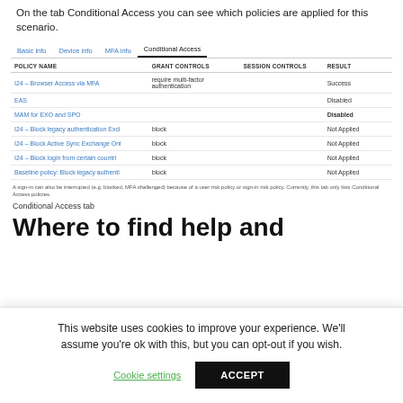On the tab Conditional Access you can see which policies are applied for this scenario.
[Figure (screenshot): Screenshot of Conditional Access tab in a sign-in log interface showing a table with policy names, grant controls, session controls, and result columns. Tabs shown: Basic info, Device info, MFA info, Conditional Access (active). Table rows: I24 – Browser Access via MFA / require multi-factor authentication / / Success; EAS / / / Disabled; MAM for EXO and SPO / / / Disabled (bold); I24 – Block legacy authentication Excl / block / / Not Applied; I24 – Block Active Sync Exchange Onl / block / / Not Applied; I24 – Block login from certain countri / block / / Not Applied; Baseline policy: Block legacy authenti / block / / Not Applied. Footnote: A sign-in can also be interrupted (e.g. blocked, MFA challenged) because of a user risk policy or sign-in risk policy. Currently, this tab only lists Conditional Access policies.]
Conditional Access tab
Where to find help and
This website uses cookies to improve your experience. We'll assume you're ok with this, but you can opt-out if you wish.